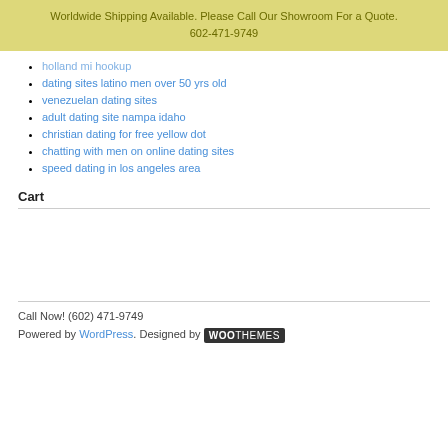Worldwide Shipping Available. Please Call Our Showroom For a Quote.
602-471-9749
holland mi hookup
dating sites latino men over 50 yrs old
venezuelan dating sites
adult dating site nampa idaho
christian dating for free yellow dot
chatting with men on online dating sites
speed dating in los angeles area
Cart
Call Now! (602) 471-9749
Powered by WordPress. Designed by WooThemes